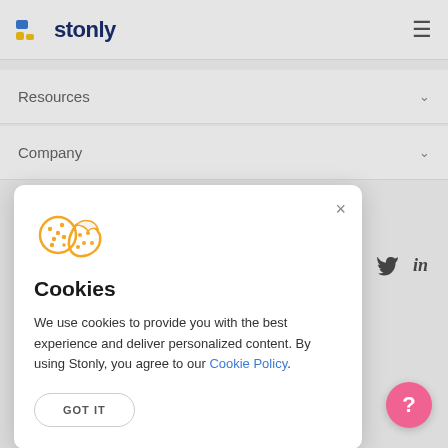stonly
Resources
Company
Cookies
We use cookies to provide you with the best experience and deliver personalized content. By using Stonly, you agree to our Cookie Policy.
GOT IT